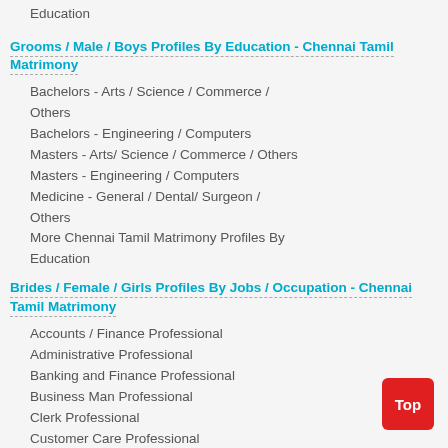Education
Grooms / Male / Boys Profiles By Education - Chennai Tamil Matrimony
Bachelors - Arts / Science / Commerce / Others
Bachelors - Engineering / Computers
Masters - Arts/ Science / Commerce / Others
Masters - Engineering / Computers
Medicine - General / Dental/ Surgeon / Others
More Chennai Tamil Matrimony Profiles By Education
Brides / Female / Girls Profiles By Jobs / Occupation - Chennai Tamil Matrimony
Accounts / Finance Professional
Administrative Professional
Banking and Finance Professional
Business Man Professional
Clerk Professional
Customer Care Professional